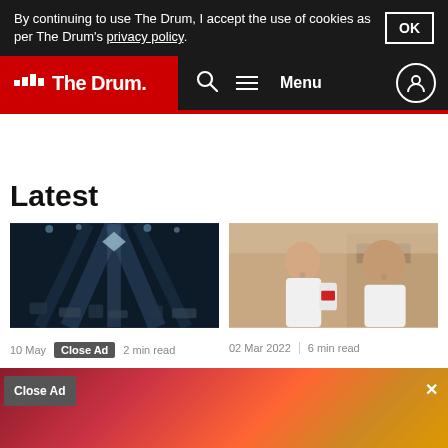By continuing to use The Drum, I accept the use of cookies as per The Drum's privacy policy.
The Drum — Menu navigation bar
Latest
[Figure (photo): Dark concert/event scene with stage lights and scattered debris on the floor]
[Figure (photo): Two men in white polo shirts appear to be talking outdoors, one holding a Dove product]
10 May   2 min read
02 Mar 2022   6 min read
Dori
gig t
brand
a via